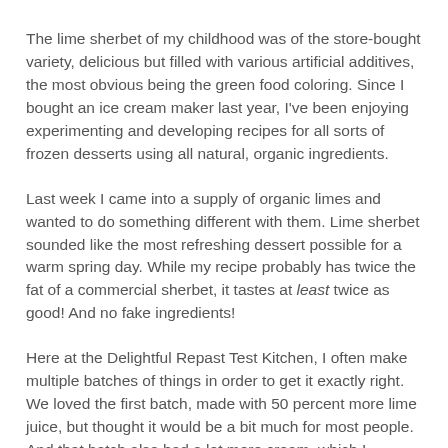The lime sherbet of my childhood was of the store-bought variety, delicious but filled with various artificial additives, the most obvious being the green food coloring. Since I bought an ice cream maker last year, I've been enjoying experimenting and developing recipes for all sorts of frozen desserts using all natural, organic ingredients.
Last week I came into a supply of organic limes and wanted to do something different with them. Lime sherbet sounded like the most refreshing dessert possible for a warm spring day. While my recipe probably has twice the fat of a commercial sherbet, it tastes at least twice as good! And no fake ingredients!
Here at the Delightful Repast Test Kitchen, I often make multiple batches of things in order to get it exactly right. We loved the first batch, made with 50 percent more lime juice, but thought it would be a bit much for most people. And that batch also had a lot more cream, which I decided to cut. These two changes make the final version even more refreshing, which is just what I was aiming for. We'll be